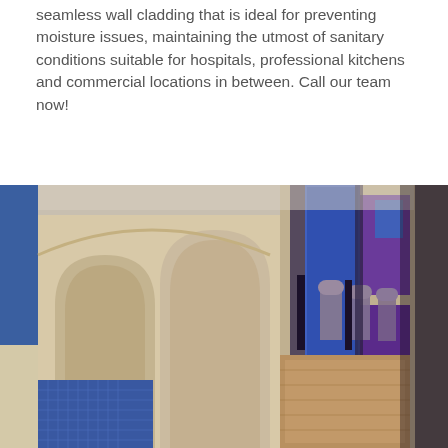seamless wall cladding that is ideal for preventing moisture issues, maintaining the utmost of sanitary conditions suitable for hospitals, professional kitchens and commercial locations in between. Call our team now!
[Figure (photo): Interior photograph of a modern commercial or healthcare facility hallway showing decorative wall cladding with curved arches in beige/sand tones on the left, blue mosaic tiles, purple accent panels in the background, patterned chairs along the corridor, and a stylized swirling purple and cream floor design.]